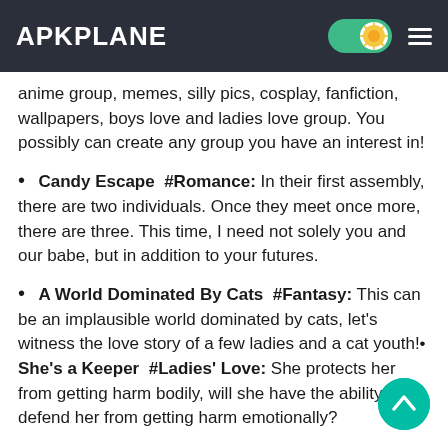APKPLANE
anime group, memes, silly pics, cosplay, fanfiction, wallpapers, boys love and ladies love group. You possibly can create any group you have an interest in!
• Candy Escape  #Romance: In their first assembly, there are two individuals. Once they meet once more, there are three. This time, I need not solely you and our babe, but in addition to your futures.
• A World Dominated By Cats  #Fantasy: This can be an implausible world dominated by cats, let's witness the love story of a few ladies and a cat youth!•​She's a Keeper  #Ladies' Love: She protects her from getting harm bodily, will she have the ability to defend her from getting harm emotionally?
• Equipoise  #Boys' Love: As a boy who retains a sure dista… from everybody, he really meets the one which he desires to